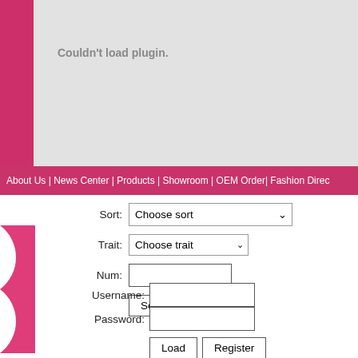Couldn't load plugin.
About Us | News Center | Products | Showroom | OEM Order| Fashion Direc
[Figure (screenshot): Web form with Sort dropdown (Choose sort), Trait dropdown (Choose trait), Num text input, and Search and Reset buttons]
[Figure (screenshot): Login form with Username and Password fields, Load and Register buttons]